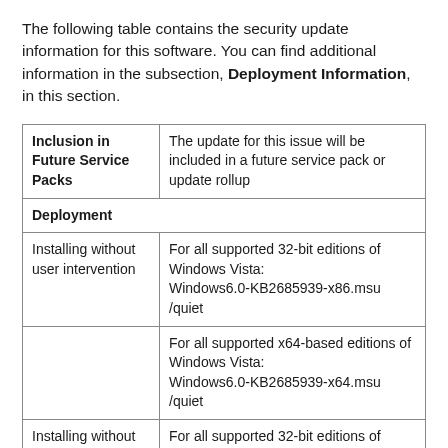The following table contains the security update information for this software. You can find additional information in the subsection, Deployment Information, in this section.
|  |  |
| --- | --- |
| Inclusion in Future Service Packs | The update for this issue will be included in a future service pack or update rollup |
| Deployment |  |
| Installing without user intervention | For all supported 32-bit editions of Windows Vista:
Windows6.0-KB2685939-x86.msu /quiet |
|  | For all supported x64-based editions of Windows Vista:
Windows6.0-KB2685939-x64.msu /quiet |
| Installing without restarting | For all supported 32-bit editions of Windows Vista:
Windows6.0-KB2685939-x86.msu /quiet /norestart |